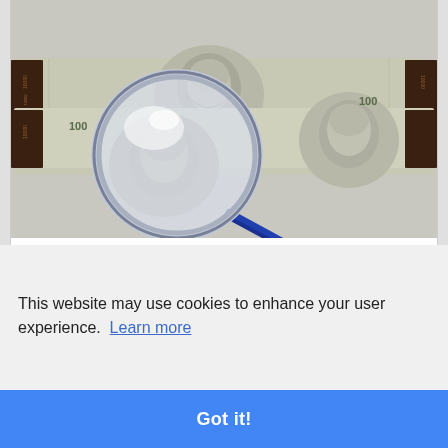[Figure (photo): Photo of stacked US $100 dollar bills with a magnifying glass overlay, suggesting financial investigation or loan review.]
Loan Officer Training  - Assist and guide loan applicants …
Fraud investment Lawyer  - Securities litigation
This website may use cookies to enhance your user experience.  Learn more
Got it!